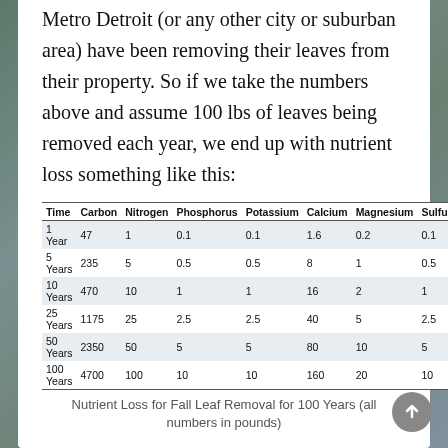Metro Detroit (or any other city or suburban area) have been removing their leaves from their property. So if we take the numbers above and assume 100 lbs of leaves being removed each year, we end up with nutrient loss something like this:
| Time | Carbon | Nitrogen | Phosphorus | Potassium | Calcium | Magnesium | Sulfur |
| --- | --- | --- | --- | --- | --- | --- | --- |
| 1 Year | 47 | 1 | 0.1 | 0.1 | 1.6 | 0.2 | 0.1 |
| 5 Years | 235 | 5 | 0.5 | 0.5 | 8 | 1 | 0.5 |
| 10 Years | 470 | 10 | 1 | 1 | 16 | 2 | 1 |
| 25 Years | 1175 | 25 | 2.5 | 2.5 | 40 | 5 | 2.5 |
| 50 Years | 2350 | 50 | 5 | 5 | 80 | 10 | 5 |
| 100 Years | 4700 | 100 | 10 | 10 | 160 | 20 | 10 |
Nutrient Loss for Fall Leaf Removal for 100 Years (all numbers in pounds)